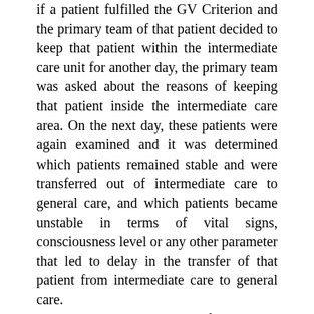if a patient fulfilled the GV Criterion and the primary team of that patient decided to keep that patient within the intermediate care unit for another day, the primary team was asked about the reasons of keeping that patient inside the intermediate care area. On the next day, these patients were again examined and it was determined which patients remained stable and were transferred out of intermediate care to general care, and which patients became unstable in terms of vital signs, consciousness level or any other parameter that led to delay in the transfer of that patient from intermediate care to general care. Data was stored in Microsoft Excel and was analysed using SPSS 19. Continuous variables with normal and non-normal distributions were reported as mean ± standard deviation and median with